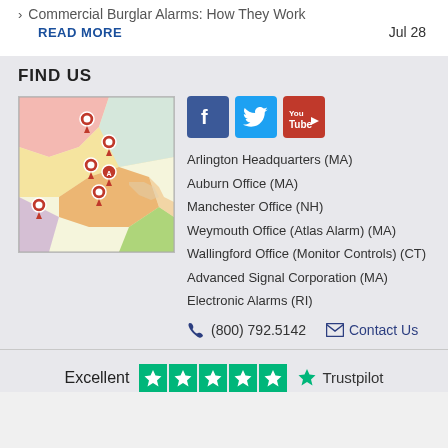Commercial Burglar Alarms: How They Work
READ MORE   Jul 28
FIND US
[Figure (map): Map of northeastern US (Massachusetts and surrounding states) with multiple red map pin markers indicating office locations]
[Figure (infographic): Social media icons: Facebook (blue), Twitter (light blue), YouTube (red)]
Arlington Headquarters (MA)
Auburn Office (MA)
Manchester Office (NH)
Weymouth Office (Atlas Alarm) (MA)
Wallingford Office (Monitor Controls) (CT)
Advanced Signal Corporation (MA)
Electronic Alarms (RI)
(800) 792.5142   Contact Us
Excellent  Trustpilot